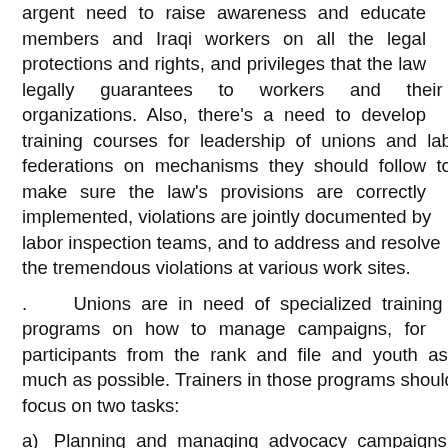argent need to raise awareness and educate members and Iraqi workers on all the legal protections and rights, and privileges that the law legally guarantees to workers and their organizations. Also, there's a need to develop training courses for leadership of unions and labor federations on mechanisms they should follow to make sure the law's provisions are correctly implemented, violations are jointly documented by labor inspection teams, and to address and resolve the tremendous violations at various work sites.
. Unions are in need of specialized training programs on how to manage campaigns, for participants from the rank and file and youth as much as possible. Trainers in those programs should focus on two tasks:
a) Planning and managing advocacy campaigns around protecting workers rights in general, and especially women and youth. As well as managing